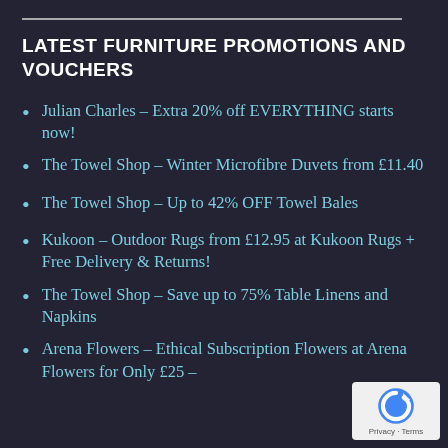LATEST FURNITURE PROMOTIONS AND VOUCHERS
Julian Charles – Extra 20% off EVERYTHING starts now!
The Towel Shop – Winter Microfibre Duvets from £11.40
The Towel Shop – Up to 42% OFF Towel Bales
Kukoon – Outdoor Rugs from £12.95 at Kukoon Rugs + Free Delivery & Returns!
The Towel Shop – Save up to 75% Table Linens and Napkins
Arena Flowers – Ethical Subscription Flowers at Arena Flowers for Only £25 –
[Figure (logo): reCAPTCHA badge with Privacy · Terms text]